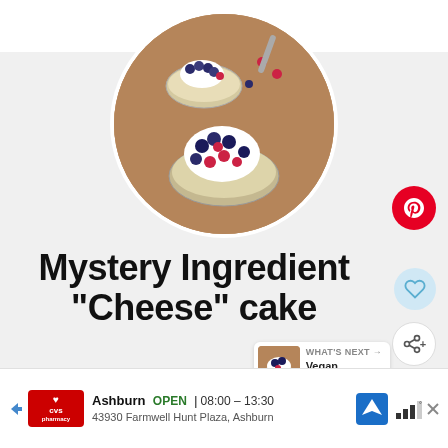[Figure (photo): Circular cropped photo of two glass bowls containing cheesecake desserts topped with whipped cream, blueberries, and raspberries on a wooden surface]
Mystery Ingredient "Cheese" cake
yield: 4   prep time: 50 MINUTES
[Figure (infographic): WHAT'S NEXT arrow label with thumbnail image and text 'Vegan Strawberry...']
Ashburn OPEN | 08:00 – 13:30  43930 Farmwell Hunt Plaza, Ashburn